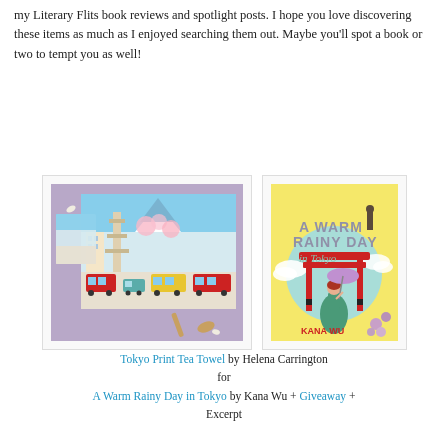my Literary Flits book reviews and spotlight posts. I hope you love discovering these items as much as I enjoyed searching them out. Maybe you'll spot a book or two to tempt you as well!
[Figure (photo): Photo of a Tokyo Print Tea Towel product with illustrated buildings, buses, and Mount Fuji on a light blue background, shown folded and flat on a purple surface with a wooden spoon.]
[Figure (photo): Book cover of 'A Warm Rainy Day in Tokyo' by Kana Wu. Yellow background with a red torii gate, a woman in a green dress holding a purple umbrella, and a silhouette of a man at the top. Purple flowers in the corner.]
Tokyo Print Tea Towel by Helena Carrington for A Warm Rainy Day in Tokyo by Kana Wu + Giveaway + Excerpt